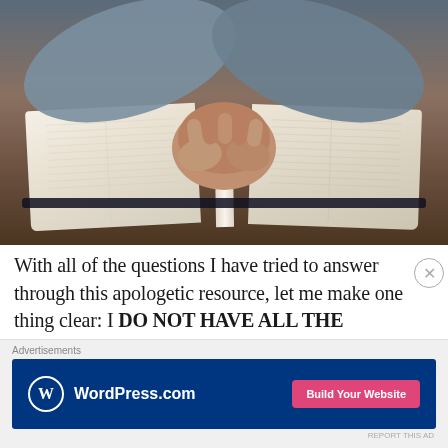[Figure (photo): Overhead view of a person in a blue long-sleeve shirt with clasped/folded hands resting on an open Bible placed on a wooden table.]
With all of the questions I have tried to answer through this apologetic resource, let me make one thing clear: I DO NOT HAVE ALL THE ANSWERS. And neither do you.
Advertisements
[Figure (screenshot): WordPress.com advertisement banner with dark blue background, WordPress logo on the left and a pink 'Build Your Website' button on the right.]